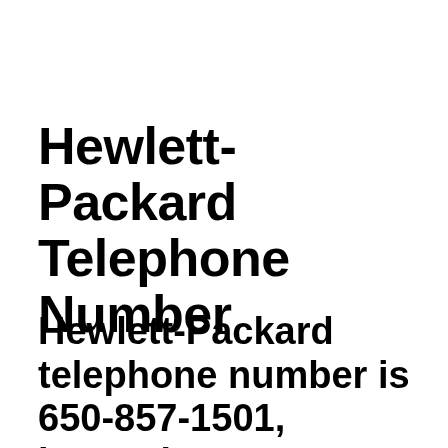Hewlett-Packard Telephone Number
Hewlett-Packard telephone number is 650-857-1501, located at 3000 Hanover St., Palo Alto,